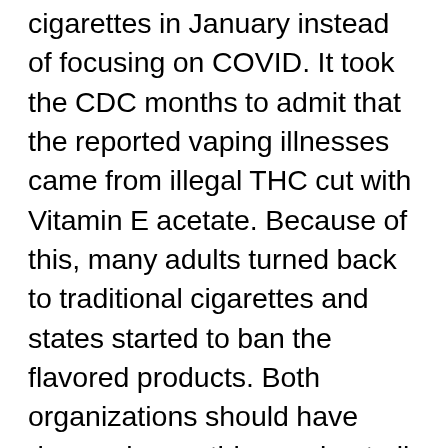cigarettes in January instead of focusing on COVID. It took the CDC months to admit that the reported vaping illnesses came from illegal THC cut with Vitamin E acetate. Because of this, many adults turned back to traditional cigarettes and states started to ban the flavored products. Both organizations should have dropped everything and put all resources into helping keep people safe from the virus. Instead, early on in the pandemic they were spreading false information about a harm reduction product that is actually helping adults quit smoking. This lack of judgement caused loss of life during pandemic from the virus and from people pushed back to smoking. Sorry for the ramble, but the handling of the pandemic from the CDC and WHO has confirmed my feelings of skepticisim of both organizations.